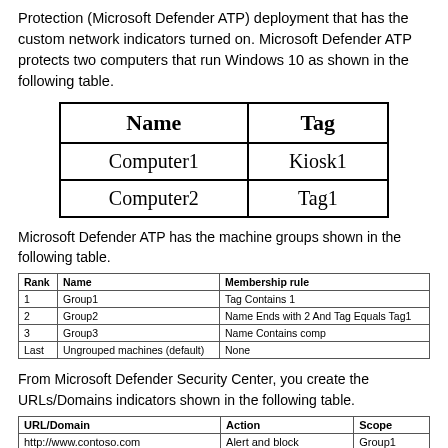Protection (Microsoft Defender ATP) deployment that has the custom network indicators turned on. Microsoft Defender ATP protects two computers that run Windows 10 as shown in the following table.
| Name | Tag |
| --- | --- |
| Computer1 | Kiosk1 |
| Computer2 | Tag1 |
Microsoft Defender ATP has the machine groups shown in the following table.
| Rank | Name | Membership rule |
| --- | --- | --- |
| 1 | Group1 | Tag Contains 1 |
| 2 | Group2 | Name Ends with 2 And Tag Equals Tag1 |
| 3 | Group3 | Name Contains comp |
| Last | Ungrouped machines (default) | None |
From Microsoft Defender Security Center, you create the URLs/Domains indicators shown in the following table.
| URL/Domain | Action | Scope |
| --- | --- | --- |
| http://www.contoso.com | Alert and block | Group1 |